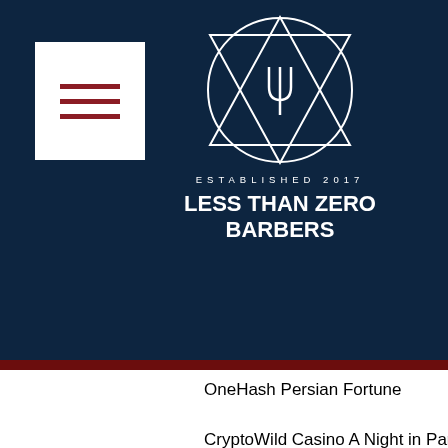[Figure (logo): Less Than Zero Barbers logo with triangle and tuning fork symbol, ESTABLISHED 2017 text, social media icons (Facebook, Twitter, Instagram), hamburger menu button]
OneHash Persian Fortune
CryptoWild Casino A Night in Paris
mBTC free bet Blazing Goddess
Playamo Casino Robbie Jones
OneHash Garage
Betchan Casino Samba Carnival
Playamo Casino Lotus Love
King Billy Casino Halloween Horrors
Syndicate Casino Dr Watts up
1xBit Casino Phoenix Sun
https://www.communityorchestraacademy.org/profile/nievesbenfield162239/profile
https://www.nyinkandthread.com/profile/gius